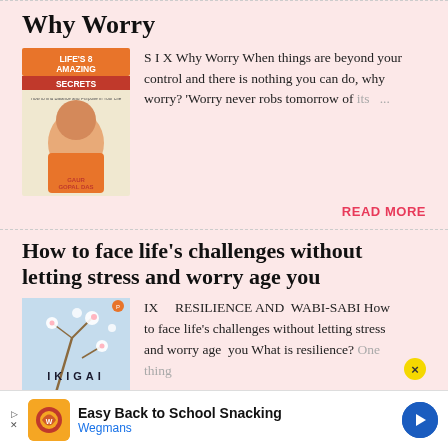Why Worry
[Figure (photo): Book cover: Life's 8 Amazing Secrets by Gaur Gopal Das]
S I X Why Worry When things are beyond your control and there is nothing you can do, why worry? 'Worry never robs tomorrow of its ...
READ MORE
How to face life's challenges without letting stress and worry age you
[Figure (photo): Book cover: Ikigai]
IX    RESILIENCE AND WABI-SABI How to face life's challenges without letting stress and worry age you What is resilience? One thing
Easy Back to School Snacking Wegmans